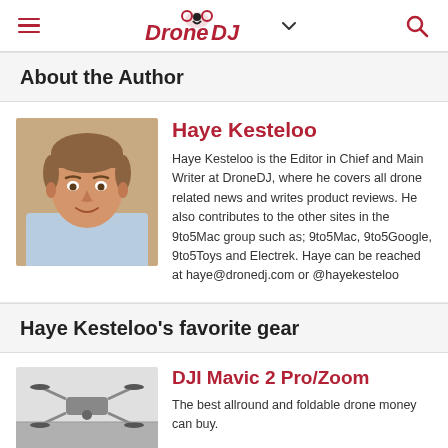DroneDJ
About the Author
Haye Kesteloo
Haye Kesteloo is the Editor in Chief and Main Writer at DroneDJ, where he covers all drone related news and writes product reviews. He also contributes to the other sites in the 9to5Mac group such as; 9to5Mac, 9to5Google, 9to5Toys and Electrek. Haye can be reached at haye@dronedj.com or @hayekesteloo
Haye Kesteloo's favorite gear
DJI Mavic 2 Pro/Zoom
The best allround and foldable drone money can buy.